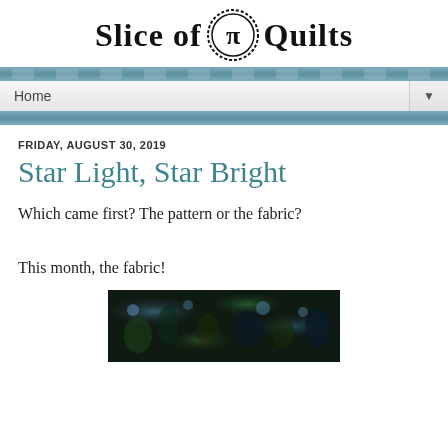Slice of Pi Quilts
Home
FRIDAY, AUGUST 30, 2019
Star Light, Star Bright
Which came first? The pattern or the fabric?
This month, the fabric!
[Figure (photo): A photo of dark fabric with blue and green floral/tree patterns, partially visible at bottom of page]